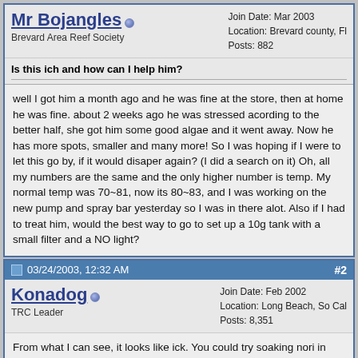Mr Bojangles [online] — Join Date: Mar 2003, Location: Brevard county, Fl, Posts: 882, User title: Brevard Area Reef Society
Is this ich and how can I help him?
well I got him a month ago and he was fine at the store, then at home he was fine. about 2 weeks ago he was stressed acording to the better half, she got him some good algae and it went away. Now he has more spots, smaller and many more! So I was hoping if I were to let this go by, if it would disaper again? (I did a search on it) Oh, all my numbers are the same and the only higher number is temp. My normal temp was 70~81, now its 80~83, and I was working on the new pump and spray bar yesterday so I was in there alot. Also if I had to treat him, would the best way to go to set up a 10g tank with a small filter and a NO light?
03/24/2003, 12:32 AM — #2 — Konadog [online] — TRC Leader — Join Date: Feb 2002, Location: Long Beach, So Cal, Posts: 8,351
From what I can see, it looks like ick. You could try soaking nori in garlic extract. He also looks thin, the garlic may also stimulate his appetite.
Save the Reef.............................. Save the world.